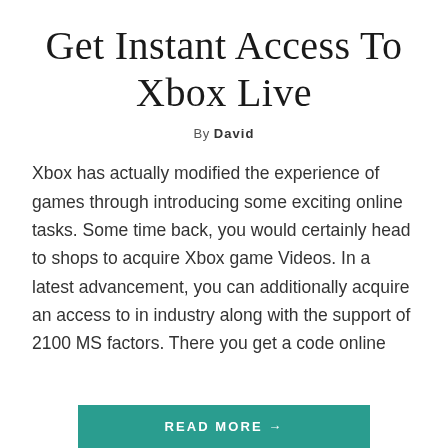Get Instant Access To Xbox Live
By David
Xbox has actually modified the experience of games through introducing some exciting online tasks. Some time back, you would certainly head to shops to acquire Xbox game Videos. In a latest advancement, you can additionally acquire an access to in industry along with the support of 2100 MS factors. There you get a code online
READ MORE →